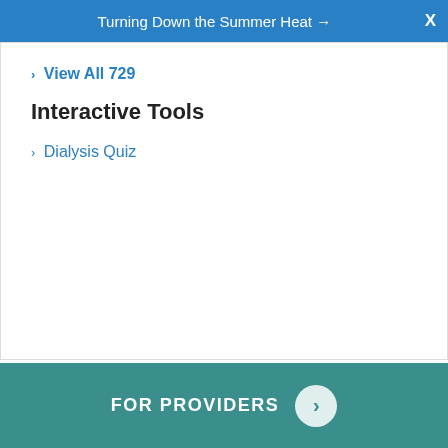Turning Down the Summer Heat →  X
› View All 729
Interactive Tools
› Dialysis Quiz
Copyright © 2022 The StayWell Company, LLC. except where otherwise noted.
StayWell Disclaimer
FOR PROVIDERS  ›